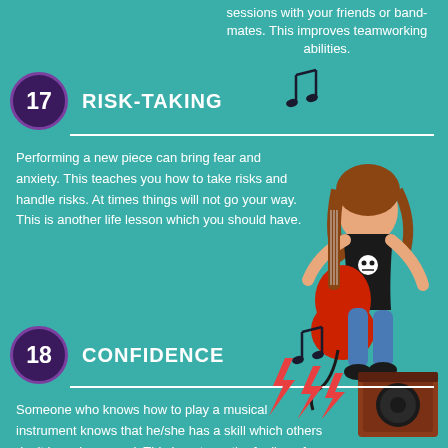sessions with your friends or band-mates. This improves teamworking abilities.
17  RISK-TAKING
Performing a new piece can bring fear and anxiety. This teaches you how to take risks and handle risks. At times things will not go your way. This is another life lesson which you should have.
[Figure (illustration): Cartoon illustration of a person with brown hair playing a red electric guitar energetically, wearing a black shirt with skull, standing on a guitar amplifier with red lightning bolts.]
18  CONFIDENCE
Someone who knows how to play a musical instrument knows that he/she has a skill which others don't have in general. This boosts up the feeling of confidence